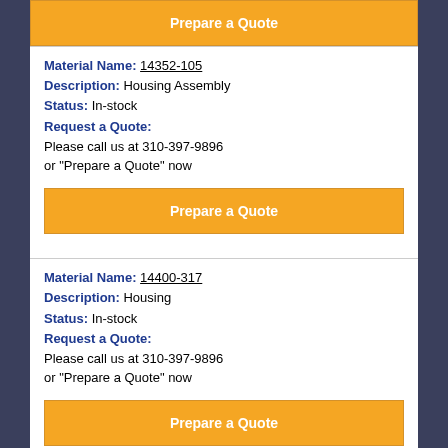[Figure (other): Orange 'Prepare a Quote' button at top of page (partially visible)]
Material Name: 14352-105
Description: Housing Assembly
Status: In-stock
Request a Quote:
Please call us at 310-397-9896
or "Prepare a Quote" now
[Figure (other): Orange 'Prepare a Quote' button]
Material Name: 14400-317
Description: Housing
Status: In-stock
Request a Quote:
Please call us at 310-397-9896
or "Prepare a Quote" now
[Figure (other): Orange 'Prepare a Quote' button]
Material Name: 14401-051